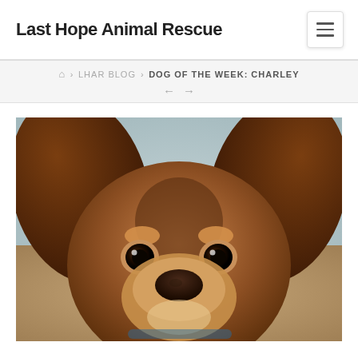Last Hope Animal Rescue
Home > LHAR BLOG > DOG OF THE WEEK: CHARLEY
[Figure (photo): Close-up photo of a brown and tan puppy with large floppy ears looking directly at the camera. The puppy has big dark eyes and a broad nose. The background shows a blurred indoor setting.]